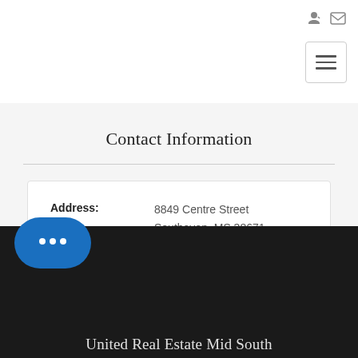Contact Information
| Field | Value |
| --- | --- |
| Address: | 8849 Centre Street
Southaven, MS 38671 |
| Phone: | 662-723-3479 |
United Real Estate Mid South